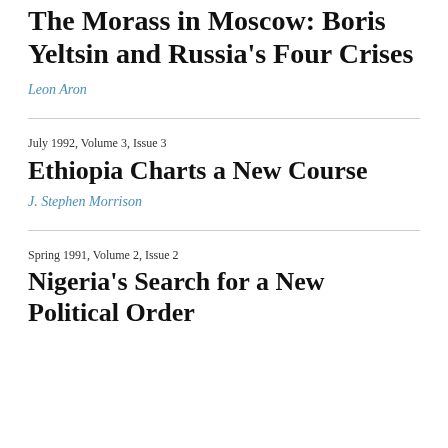The Morass in Moscow: Boris Yeltsin and Russia's Four Crises
Leon Aron
July 1992, Volume 3, Issue 3
Ethiopia Charts a New Course
J. Stephen Morrison
Spring 1991, Volume 2, Issue 2
Nigeria's Search for a New Political Order